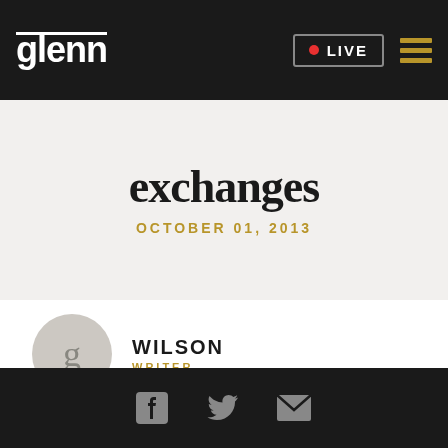glenn | LIVE
exchanges
OCTOBER 01, 2013
WILSON
WRITER
Facebook | Twitter | Email